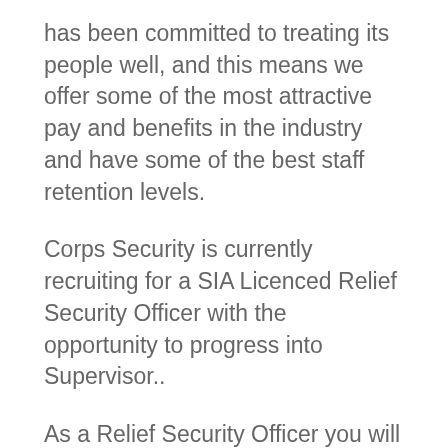has been committed to treating its people well, and this means we offer some of the most attractive pay and benefits in the industry and have some of the best staff retention levels.
Corps Security is currently recruiting for a SIA Licenced Relief Security Officer with the opportunity to progress into Supervisor..
As a Relief Security Officer you will be trained and required to work at a number of our clients premises to assist us with holiday and sickness cover, with a view to being allocated a fixed shift pattern, when the opportunities arise.
This role will cover sites in Tadworth, Chessington, Weybridge and Epsom.